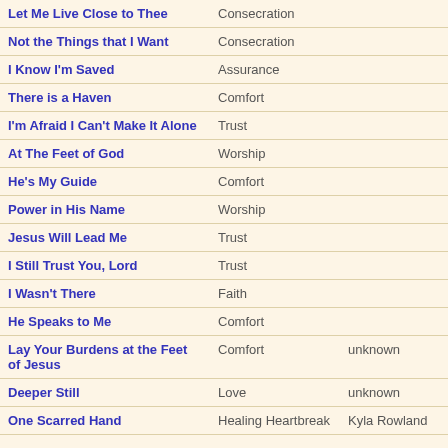| Title | Category | Author |
| --- | --- | --- |
| Let Me Live Close to Thee | Consecration |  |
| Not the Things that I Want | Consecration |  |
| I Know I'm Saved | Assurance |  |
| There is a Haven | Comfort |  |
| I'm Afraid I Can't Make It Alone | Trust |  |
| At The Feet of God | Worship |  |
| He's My Guide | Comfort |  |
| Power in His Name | Worship |  |
| Jesus Will Lead Me | Trust |  |
| I Still Trust You, Lord | Trust |  |
| I Wasn't There | Faith |  |
| He Speaks to Me | Comfort |  |
| Lay Your Burdens at the Feet of Jesus | Comfort | unknown |
| Deeper Still | Love | unknown |
| One Scarred Hand | Healing Heartbreak | Kyla Rowland |